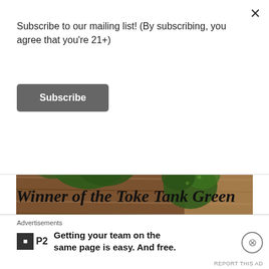Subscribe to our mailing list! (By subscribing, you agree that you're 21+)
Subscribe
[Figure (photo): Close-up photo of cannabis buds on a wooden surface]
Winner of the Toke Tank Green
Gold Award 2017, Best Indica
Advertisements
Getting your team on the same page is easy. And free.